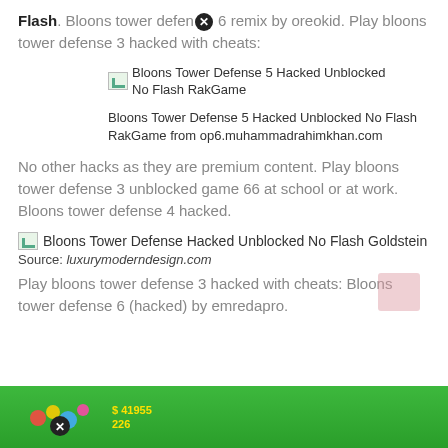Flash. Bloons tower defense [X] 6 remix by oreokid. Play bloons tower defense 3 hacked with cheats:
[Figure (screenshot): Broken image placeholder with caption: Bloons Tower Defense 5 Hacked Unblocked No Flash RakGame]
Bloons Tower Defense 5 Hacked Unblocked No Flash RakGame from op6.muhammadrahimkhan.com
No other hacks as they are premium content. Play bloons tower defense 3 unblocked game 66 at school or at work. Bloons tower defense 4 hacked.
[Figure (screenshot): Broken image placeholder with caption: Bloons Tower Defense Hacked Unblocked No Flash Goldstein]
Source: luxurymoderndesign.com
Play bloons tower defense 3 hacked with cheats: Bloons tower defense 6 (hacked) by emredapro.
[Figure (screenshot): Game screenshot showing Bloons Tower Defense gameplay with HUD showing $41955 and 226]